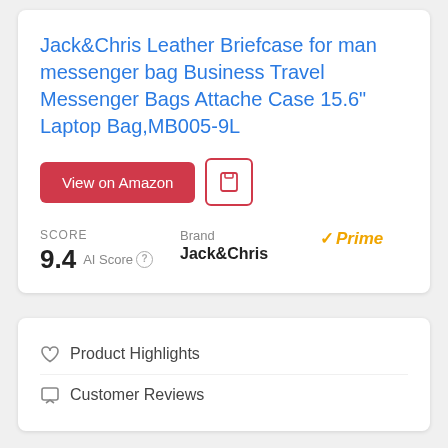Jack&Chris Leather Briefcase for man messenger bag Business Travel Messenger Bags Attache Case 15.6" Laptop Bag,MB005-9L
View on Amazon
SCORE
9.4 AI Score
Brand
Jack&Chris
✓Prime
♡ Product Highlights
☐ Customer Reviews